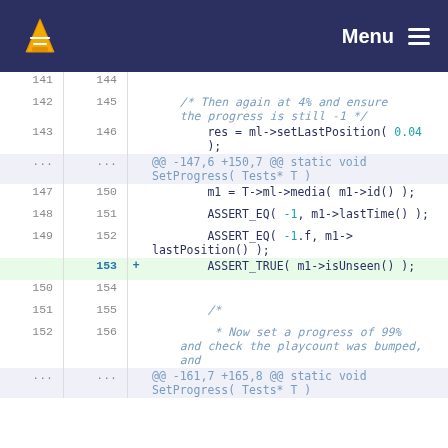VLC Menu
[Figure (screenshot): Code diff view showing changes to a C++ test file with VLC media player context. Lines 141-156 shown with old/new line numbers, including additions of ASSERT_TRUE( m1->isUnseen() );]
141 144
142 145   /* Then again at 4% and ensure the progress is still -1 */
143 146   res = ml->setLastPosition( 0.04 );
... ...   @@ -147,6 +150,7 @@ static void SetProgress( Tests* T )
147 150   m1 = T->ml->media( m1->id() );
148 151   ASSERT_EQ( -1, m1->lastTime() );
149 152   ASSERT_EQ( -1.f, m1->lastPosition() );
    153 + ASSERT_TRUE( m1->isUnseen() );
150 154
151 155   /*
152 156     * Now set a progress of 99% and check the playcount was bumped, and
... ...   @@ -161,7 +165,8 @@ static void SetProgress( Tests* T )